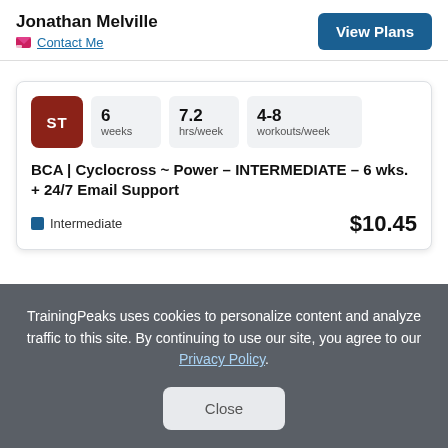Jonathan Melville
Contact Me
View Plans
[Figure (infographic): Plan card with ST badge, stats (6 weeks, 7.2 hrs/week, 4-8 workouts/week), plan title, level badge, and price]
BCA | Cyclocross ~ Power – INTERMEDIATE – 6 wks. + 24/7 Email Support
Intermediate  $10.45
TrainingPeaks uses cookies to personalize content and analyze traffic to this site. By continuing to use our site, you agree to our Privacy Policy.
Close